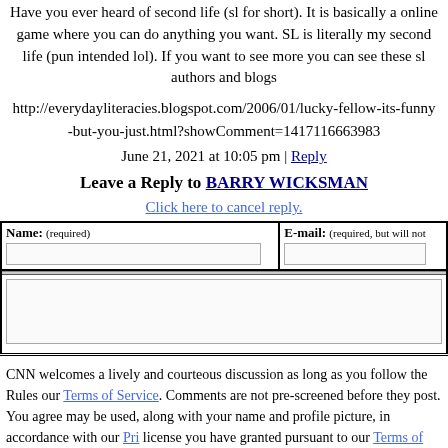Have you ever heard of second life (sl for short). It is basically a online game where you can do anything you want. SL is literally my second life (pun intended lol). If you want to see more you can see these sl authors and blogs
http://everydayliteracies.blogspot.com/2006/01/lucky-fellow-its-funny-but-you-just.html?showComment=1417116663983
June 21, 2021 at 10:05 pm | Reply
Leave a Reply to BARRY WICKSMAN
Click here to cancel reply.
Name: (required)   E-mail: (required, but will not
CNN welcomes a lively and courteous discussion as long as you follow the Rules our Terms of Service. Comments are not pre-screened before they post. You agree may be used, along with your name and profile picture, in accordance with our Pri license you have granted pursuant to our Terms of Service.